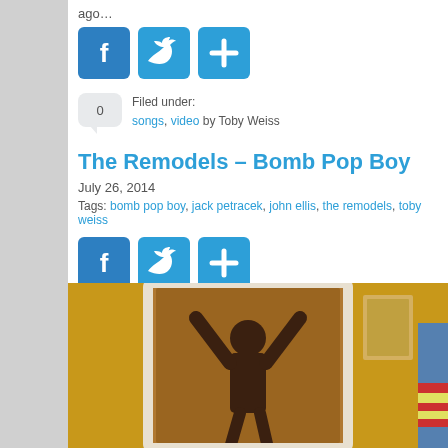ago…
[Figure (infographic): Three social sharing buttons: Facebook (blue with F icon), Twitter (blue with bird icon), and Share/Plus (blue with + icon)]
Filed under: songs, video by Toby Weiss
The Remodels – Bomb Pop Boy
July 26, 2014
Tags: bomb pop boy, jack petracek, john ellis, the remodels, toby weiss
[Figure (infographic): Three social sharing buttons: Facebook (blue with F icon), Twitter (blue with bird icon), and Share/Plus (blue with + icon)]
[Figure (photo): A room with yellow walls featuring a large framed sepia-toned poster of a person with arms raised, and other smaller items on the wall, with part of a colorful jukebox visible on the right edge]